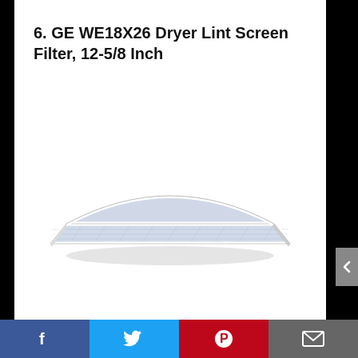6. GE WE18X26 Dryer Lint Screen Filter, 12-5/8 Inch
[Figure (photo): Photo of a GE WE18X26 dryer lint screen filter, showing a flat rectangular filter with white plastic frame and mesh screen, viewed from a slight angle.]
Facebook | Twitter | Pinterest | Email